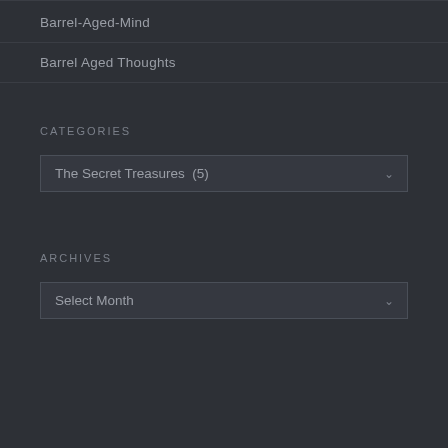Barrel-Aged-Mind
Barrel Aged Thoughts
CATEGORIES
The Secret Treasures  (5)
ARCHIVES
Select Month